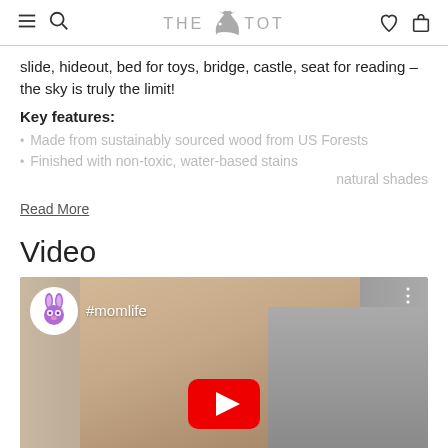THE TOT
slide, hideout, bed for toys, bridge, castle, seat for reading – the sky is truly the limit!
Key features:
Made from sustainably sourced wood from US Forests
Finished with non-toxic, water-based stains natural shades
Read More
Video
[Figure (screenshot): YouTube video thumbnail showing a woman holding a baby, with a purple bunny avatar and #momlife text overlay, and a YouTube play button in the center]